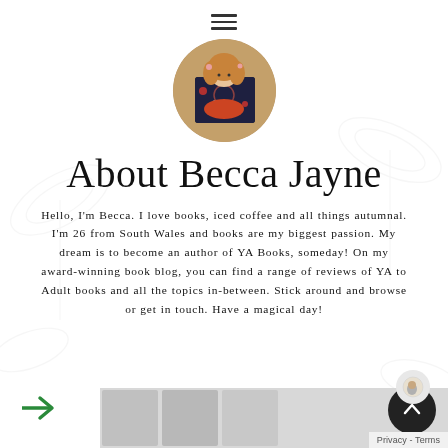[Figure (other): Hamburger/menu icon with three horizontal lines]
[Figure (photo): Circular cropped profile photo of a young woman holding a book in front of her face, with wavy hair and a floral-decorated book cover visible]
About Becca Jayne
Hello, I'm Becca. I love books, iced coffee and all things autumnal. I'm 26 from South Wales and books are my biggest passion. My dream is to become an author of YA Books, someday! On my award-winning book blog, you can find a range of reviews of YA to Adult books and all the topics in-between. Stick around and browse or get in touch. Have a magical day!
[Figure (other): Green right-pointing arrow navigation button at bottom left]
[Figure (other): Dark circular scroll-to-top button with upward chevron arrow at bottom right]
Privacy - Terms